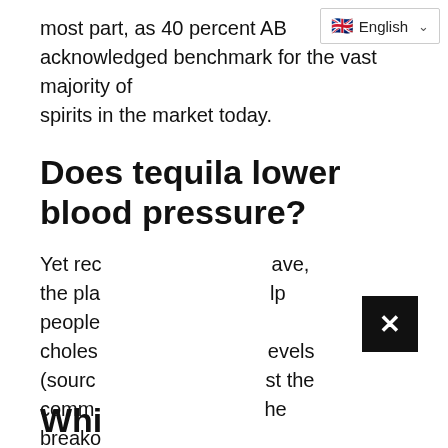English
most part, as 40 percent AB… acknowledged benchmark for the vast majority of spirits in the market today.
Does tequila lower blood pressure?
Yet rec… ave, the pla… lp people choles… evels (sourc… st the comm… he breako…
Whi…